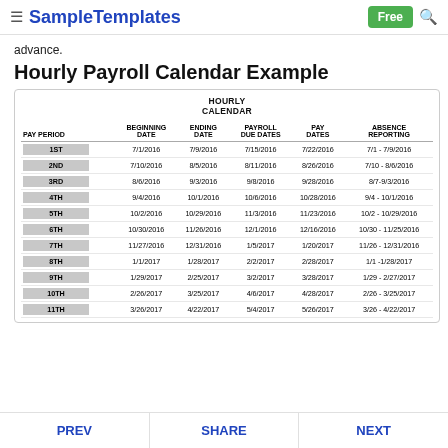≡ SampleTemplates  Free 🔍
advance.
Hourly Payroll Calendar Example
| PAY PERIOD | BEGINNING DATE | ENDING DATE | PAYROLL DUE DATES | PAY DATES | ABSENCE REPORTING |
| --- | --- | --- | --- | --- | --- |
| 1ST | 7/1/2016 | 7/9/2016 | 7/15/2016 | 7/22/2016 | 7/1 - 7/9/2016 |
| 2ND | 7/10/2016 | 8/5/2016 | 8/11/2016 | 8/26/2016 | 7/10 - 8/6/2016 |
| 3RD | 8/6/2016 | 9/3/2016 | 9/8/2016 | 9/28/2016 | 8/7-9/3/2016 |
| 4TH | 9/4/2016 | 10/1/2016 | 10/6/2016 | 10/28/2016 | 9/4 - 10/1/2016 |
| 5TH | 10/2/2016 | 10/29/2016 | 11/3/2016 | 11/23/2016 | 10/2 - 10/29/2016 |
| 6TH | 10/30/2016 | 11/26/2016 | 12/1/2016 | 12/16/2016 | 10/30 - 11/25/2016 |
| 7TH | 11/27/2016 | 12/31/2016 | 1/5/2017 | 1/20/2017 | 11/26 - 12/31/2016 |
| 8TH | 1/1/2017 | 1/28/2017 | 2/2/2017 | 2/28/2017 | 1/1 -1/28/2017 |
| 9TH | 1/29/2017 | 2/25/2017 | 3/2/2017 | 3/28/2017 | 1/29 - 2/27/2017 |
| 10TH | 2/26/2017 | 3/25/2017 | 4/6/2017 | 4/28/2017 | 2/26 - 3/25/2017 |
| 11TH | 3/26/2017 | 4/22/2017 | 5/4/2017 | 5/26/2017 | 3/26 - 4/22/2017 |
PREV   SHARE   NEXT